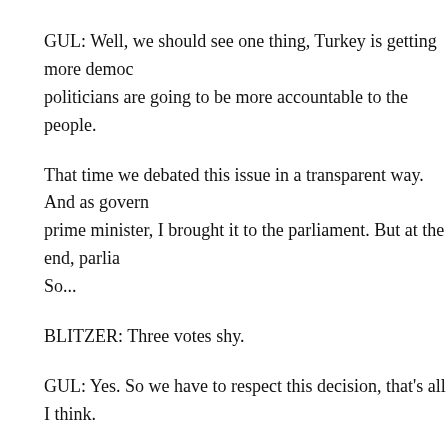GUL: Well, we should see one thing, Turkey is getting more demo... politicians are going to be more accountable to the people.
That time we debated this issue in a transparent way. And as govern... prime minister, I brought it to the parliament. But at the end, parlia... So...
BLITZER: Three votes shy.
GUL: Yes. So we have to respect this decision, that's all I think.
BLITZER: You know, that Turkish -- the image of Turkey, as you v... States suffered early during the war, because on the radio, talk show... were making the point that Kuwait allowed the U.S. to move in fro... there were cooperating. Turkey's refusal made the military mission...